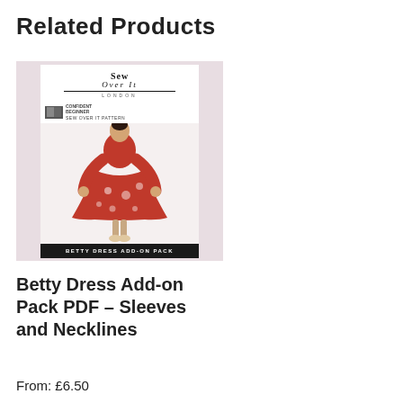Related Products
[Figure (photo): Product image of Betty Dress Add-on Pack PDF showing a woman in a red floral dress on a sewing pattern cover with 'Sew Over It London' branding and 'Betty Dress Add-On Pack' banner at the bottom]
Betty Dress Add-on Pack PDF – Sleeves and Necklines
From: £6.50